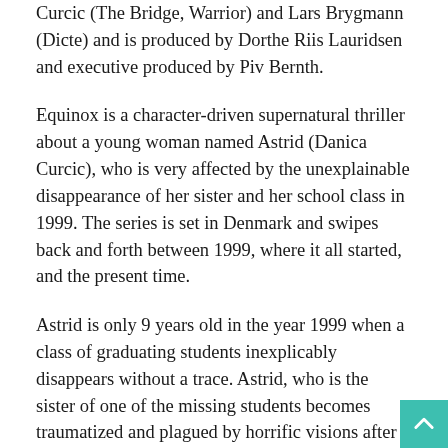Curcic (The Bridge, Warrior) and Lars Brygmann (Dicte) and is produced by Dorthe Riis Lauridsen and executive produced by Piv Bernth.
Equinox is a character-driven supernatural thriller about a young woman named Astrid (Danica Curcic), who is very affected by the unexplainable disappearance of her sister and her school class in 1999. The series is set in Denmark and swipes back and forth between 1999, where it all started, and the present time.
Astrid is only 9 years old in the year 1999 when a class of graduating students inexplicably disappears without a trace. Astrid, who is the sister of one of the missing students becomes traumatized and plagued by horrific visions after her sister's disappearance. 21 years later in 2020, Astrid now hosts a late-night radio show when all of a sudden her nightmares reappear. When one of the three survivors from 1999 contacts her through her radio